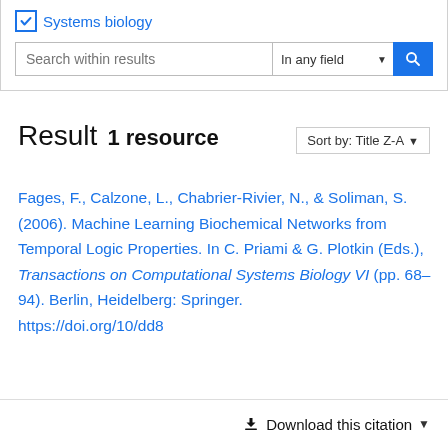☑ Systems biology
Search within results | In any field
Result  1 resource  Sort by: Title Z-A
Fages, F., Calzone, L., Chabrier-Rivier, N., & Soliman, S. (2006). Machine Learning Biochemical Networks from Temporal Logic Properties. In C. Priami & G. Plotkin (Eds.), Transactions on Computational Systems Biology VI (pp. 68–94). Berlin, Heidelberg: Springer. https://doi.org/10/dd8
Download this citation